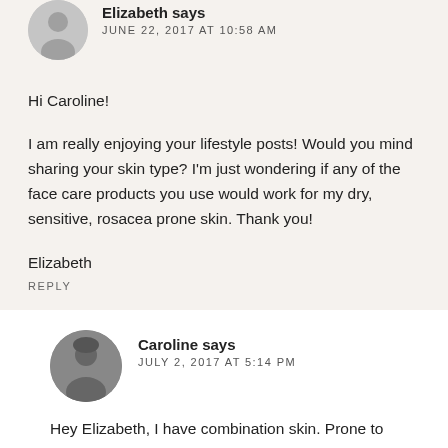Elizabeth says
JUNE 22, 2017 AT 10:58 AM
Hi Caroline!
I am really enjoying your lifestyle posts! Would you mind sharing your skin type? I’m just wondering if any of the face care products you use would work for my dry, sensitive, rosacea prone skin. Thank you!
Elizabeth
REPLY
Caroline says
JULY 2, 2017 AT 5:14 PM
Hey Elizabeth, I have combination skin. Prone to